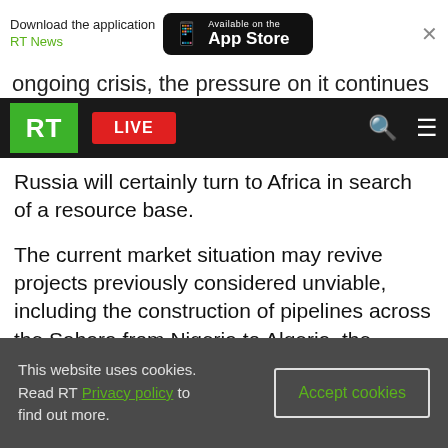[Figure (screenshot): App store download banner with RT News app promotion and Available on the App Store button]
ongoing crisis, the pressure on it continues to
[Figure (screenshot): RT news website navigation bar with green RT logo, red LIVE button, search and menu icons]
Russia will certainly turn to Africa in search of a resource base.
The current market situation may revive projects previously considered unviable, including the construction of pipelines across the Sahara from Nigeria to Algeria, the Eastern Mediterranean pipeline, or as many as three new projects for the export of LNG from the East African coast of Mozambique, Tanzania, or Djibouti.
This website uses cookies. Read RT Privacy policy to find out more.